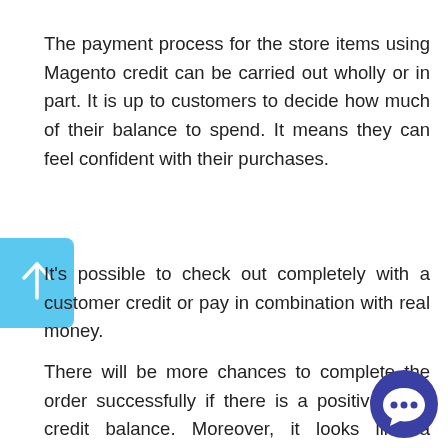The payment process for the store items using Magento credit can be carried out wholly or in part. It is up to customers to decide how much of their balance to spend. It means they can feel confident with their purchases.
It's possible to check out completely with a customer credit or pay in combination with real money.
There will be more chances to complete the order successfully if there is a positive store credit balance. Moreover, it looks like a real connected with customer loyalty. As you know, all